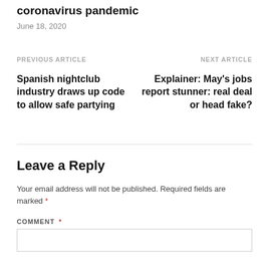coronavirus pandemic
June 18, 2020
PREVIOUS ARTICLE
Spanish nightclub industry draws up code to allow safe partying
NEXT ARTICLE
Explainer: May's jobs report stunner: real deal or head fake?
Leave a Reply
Your email address will not be published. Required fields are marked *
COMMENT *